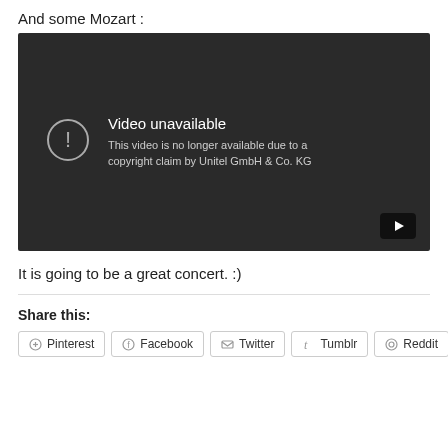And some Mozart :
[Figure (screenshot): Embedded YouTube video player showing 'Video unavailable' error message with text: 'This video is no longer available due to a copyright claim by Unitel GmbH & Co. KG']
It is going to be a great concert. :)
Share this:
Pinterest  Facebook  Twitter  Tumblr  Reddit